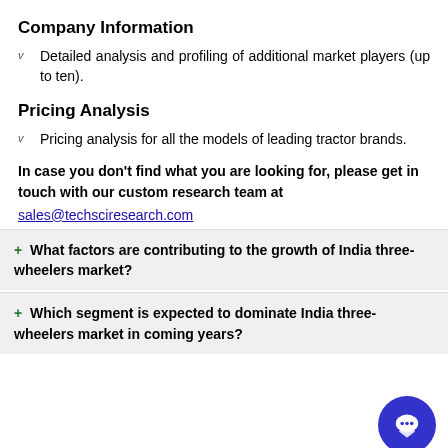Company Information
Detailed analysis and profiling of additional market players (up to ten).
Pricing Analysis
Pricing analysis for all the models of leading tractor brands.
In case you don't find what you are looking for, please get in touch with our custom research team at
sales@techsciresearch.com
+ What factors are contributing to the growth of India three-wheelers market?
+ Which segment is expected to dominate India three-wheelers market in coming years?